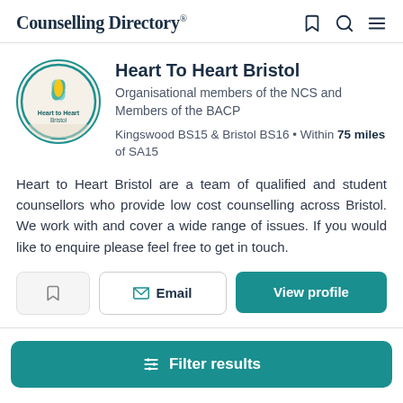Counselling Directory
[Figure (logo): Heart to Heart Bristol circular logo with leaf/plant graphic]
Heart To Heart Bristol
Organisational members of the NCS and Members of the BACP
Kingswood BS15 & Bristol BS16 • Within 75 miles of SA15
Heart to Heart Bristol are a team of qualified and student counsellors who provide low cost counselling across Bristol. We work with and cover a wide range of issues. If you would like to enquire please feel free to get in touch.
Email | View profile | Filter results